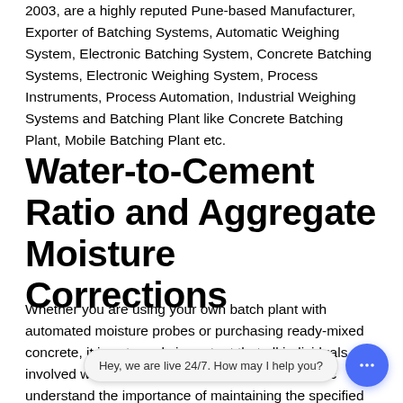2003, are a highly reputed Pune-based Manufacturer, Exporter of Batching Systems, Automatic Weighing System, Electronic Batching System, Concrete Batching Systems, Electronic Weighing System, Process Instruments, Process Automation, Industrial Weighing Systems and Batching Plant like Concrete Batching Plant, Mobile Batching Plant etc.
Water-to-Cement Ratio and Aggregate Moisture Corrections
Whether you are using your own batch plant with automated moisture probes or purchasing ready-mixed concrete, it is extremely important that all individuals involved with the [chat overlay] nc understand the importance of maintaining the specified